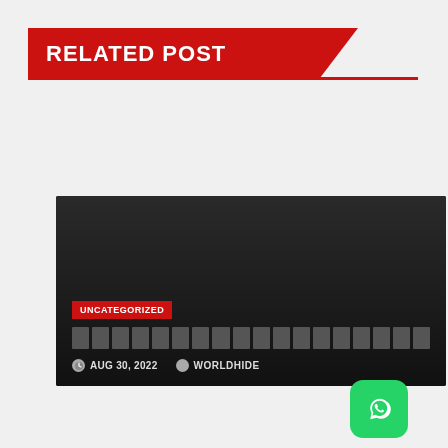RELATED POST
[Figure (screenshot): Dark card with UNCATEGORIZED badge, placeholder text blocks, date AUG 30, 2022 and author WORLDHIDE]
[Figure (screenshot): Dark card with UNCATEGORIZED badge, partially visible, with WhatsApp button overlay]